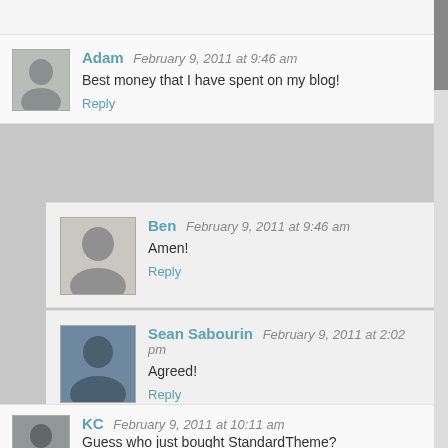Adam February 9, 2011 at 9:46 am
Best money that I have spent on my blog!
Reply
Ben February 9, 2011 at 9:46 am
Amen!
Reply
Sean Sabourin February 9, 2011 at 2:02 pm
Agreed!
Reply
KC February 9, 2011 at 10:11 am
Guess who just bought StandardTheme?